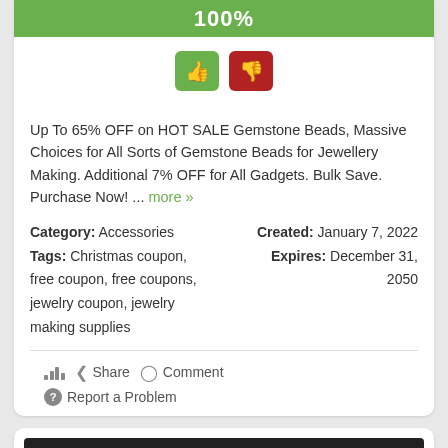[Figure (infographic): Green progress bar showing 100%]
[Figure (infographic): Thumbs up (green) and thumbs down (red) voting buttons]
Up To 65% OFF on HOT SALE Gemstone Beads, Massive Choices for All Sorts of Gemstone Beads for Jewellery Making. Additional 7% OFF for All Gadgets. Bulk Save. Purchase Now! ... more »
Category: Accessories
Tags: Christmas coupon, free coupon, free coupons, jewelry coupon, jewelry making supplies
Created: January 7, 2022
Expires: December 31, 2050
Share   Comment   Report a Problem
[Figure (screenshot): Banner ad showing Big Sale 79% OFF + Shipping Fee, 40% OFF orders over US$299/US$499 with countdown timer 05...23:30:11]